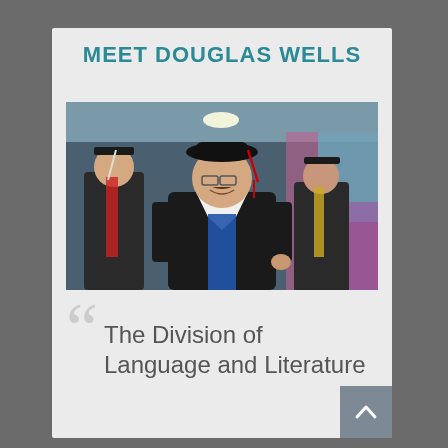MEET DOUGLAS WELLS
[Figure (photo): Douglas Wells in academic graduation regalia (black gown and doctoral tam) smiling at the camera, surrounded by other graduates in academic dress in an indoor venue.]
The Division of Language and Literature